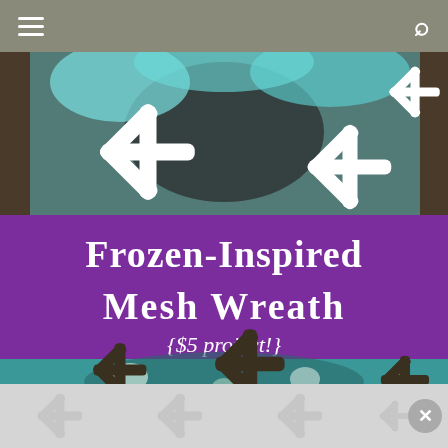Navigation header with hamburger menu and search icon
[Figure (photo): Frozen-Inspired Mesh Wreath photo with teal mesh decoration, white and dark snowflake ornaments on a dark background, with a purple banner overlay reading 'Frozen-Inspired Mesh Wreath {$5 project!}']
[Figure (photo): Advertisement bar at bottom with light gray background and decorative snowflake watermarks, with a close (X) button on the right]